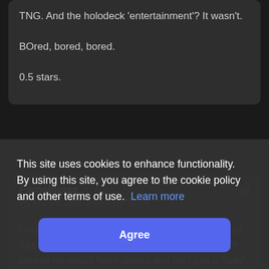TNG. And the holodeck ‘entertainment’? It wasn’t.

BOred, bored, bored.

0.5 stars.
Pamellllaaa
Fri, Oct 15, 2021, 9:04am (UTC -5)
I really don't get all of the Alexander hate. The kid has had a tough life for such a young person. Of course he would have issues and isn't just a "brat" as some call him. His
This site uses cookies to enhance functionality. By using this site, you agree to the cookie policy and other terms of use.  Learn more
Agree